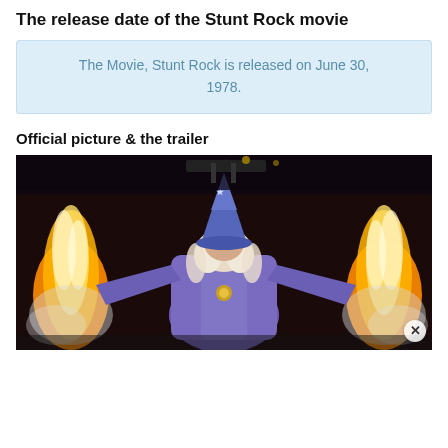The release date of the Stunt Rock movie
The Movie, Stunt Rock is released on June 30, 1978.
Official picture & the trailer
[Figure (photo): A person dressed as a wizard in a blue robe and pointed hat with arms outstretched, flanked by large flames on both sides, on a dark stage.]